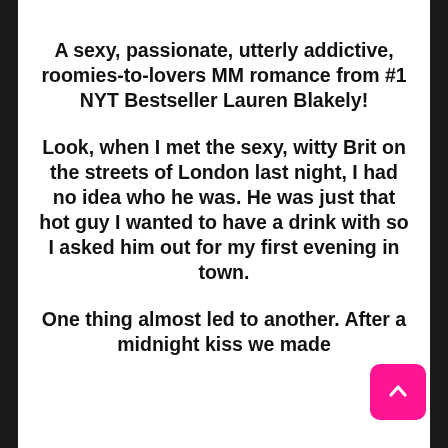A sexy, passionate, utterly addictive, roomies-to-lovers MM romance from #1 NYT Bestseller Lauren Blakely!
Look, when I met the sexy, witty Brit on the streets of London last night, I had no idea who he was. He was just that hot guy I wanted to have a drink with so I asked him out for my first evening in town.
One thing almost led to another. After a midnight kiss we made